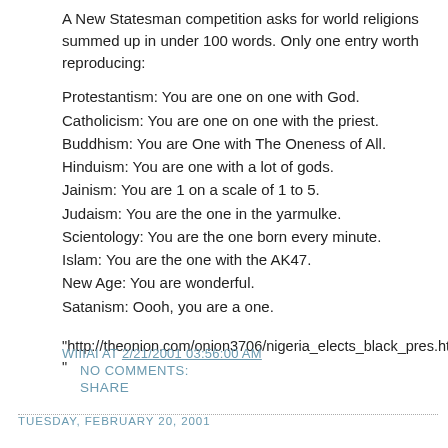A New Statesman competition asks for world religions summed up in under 100 words. Only one entry worth reproducing:
Protestantism: You are one on one with God.
Catholicism: You are one on one with the priest.
Buddhism: You are One with The Oneness of All.
Hinduism: You are one with a lot of gods.
Jainism: You are 1 on a scale of 1 to 5.
Judaism: You are the one in the yarmulke.
Scientology: You are the one born every minute.
Islam: You are the one with the AK47.
New Age: You are wonderful.
Satanism: Oooh, you are a one.
"http://theonion.com/onion3706/nigeria_elects_black_pres.html"
WIIIAI AT 2/21/2001 03:56:00 AM
  NO COMMENTS:
  SHARE
TUESDAY, FEBRUARY 20, 2001